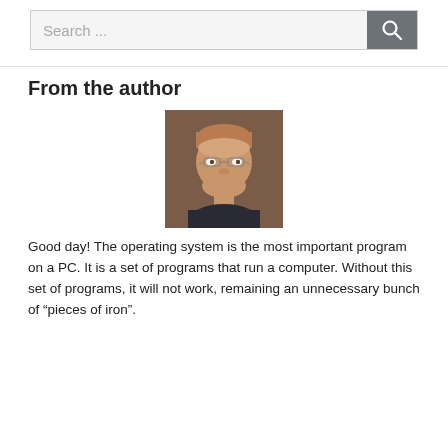Search ...
From the author
[Figure (photo): Headshot photo of a middle-aged man with glasses, short hair, wearing a dark shirt, against a brown background.]
Good day! The operating system is the most important program on a PC. It is a set of programs that run a computer. Without this set of programs, it will not work, remaining an unnecessary bunch of “pieces of iron”.